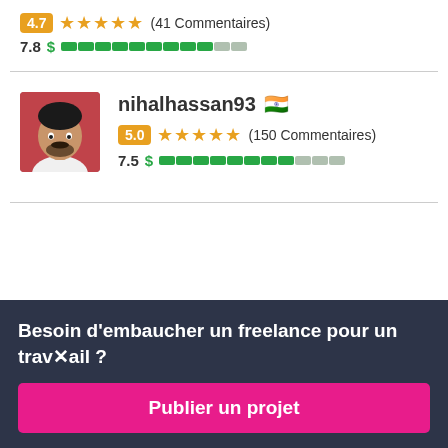4.7 ★★★★★ (41 Commentaires)
7.8 $ ██████████░░
nihalhassan93 🇮🇳
5.0 ★★★★★ (150 Commentaires)
7.5 $ █████████░░░
Besoin d'embaucher un freelance pour un travail ?
Publier un projet